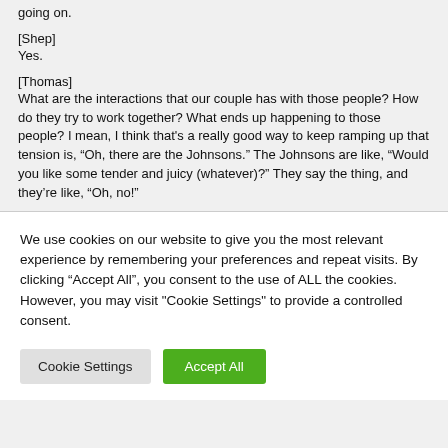going on.
[Shep]
Yes.
[Thomas]
What are the interactions that our couple has with those people? How do they try to work together? What ends up happening to those people? I mean, I think that's a really good way to keep ramping up that tension is, “Oh, there are the Johnsons.” The Johnsons are like, “Would you like some tender and juicy (whatever)?” They say the thing, and they’re like, “Oh, no!”
We use cookies on our website to give you the most relevant experience by remembering your preferences and repeat visits. By clicking “Accept All”, you consent to the use of ALL the cookies. However, you may visit "Cookie Settings" to provide a controlled consent.